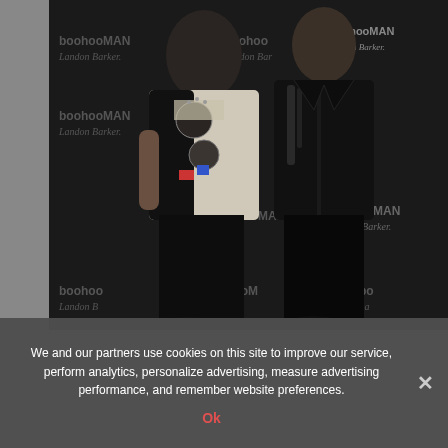[Figure (photo): Two men posing in front of a boohooMAN x Landon Barker branded backdrop. Left person wears a white and black patterned/studded jacket with tattoos visible. Right person wears an all-black outfit with a shiny black jacket. The backdrop is dark with repeating 'boohooMAN' and 'Landon Barker' text.]
We and our partners use cookies on this site to improve our service, perform analytics, personalize advertising, measure advertising performance, and remember website preferences.
Ok